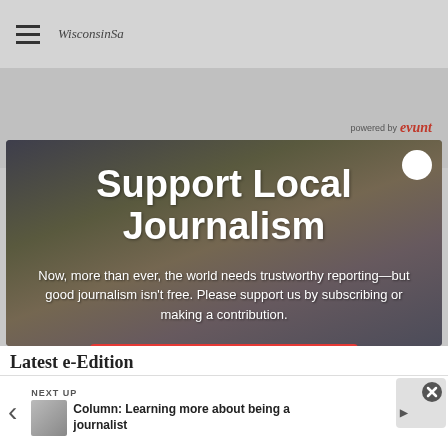WisconsinSa
powered by evunt
[Figure (screenshot): Modal popup over a news website background showing a call-to-action to support local journalism. Dark background with people writing, white overlay text, and a red subscribe button.]
Support Local Journalism
Now, more than ever, the world needs trustworthy reporting—but good journalism isn't free. Please support us by subscribing or making a contribution.
Subscribe or contribute
Latest e-Edition
NEXT UP
Column: Learning more about being a journalist